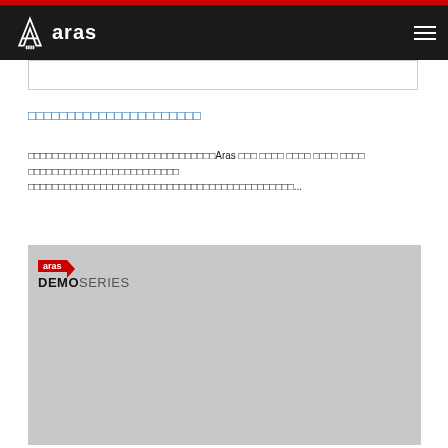Aras navigation header with logo
【日本語コンテンツ】アラスジャパンのリソース
アラスジャパンでは、様々なリソースをご用意しております。Aras の製品 デモ動画 ウェビナー ホワイト ペーパー テクニカルドキュメントなど多数提供しております。 ダウンロードにご登録が必要になる場合もございます。 是非ご確認いただければと存じます...
[Figure (screenshot): Aras Demo Series promotional image with dark overlay popup showing Japanese text and a button, alongside a circuit board background image with Japanese text 能にする、製品構成]